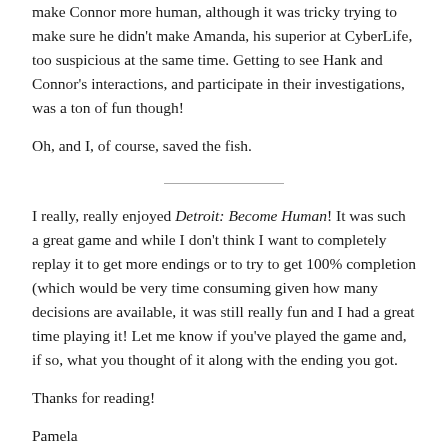make Connor more human, although it was tricky trying to make sure he didn't make Amanda, his superior at CyberLife, too suspicious at the same time. Getting to see Hank and Connor's interactions, and participate in their investigations, was a ton of fun though!
Oh, and I, of course, saved the fish.
I really, really enjoyed Detroit: Become Human! It was such a great game and while I don't think I want to completely replay it to get more endings or to try to get 100% completion (which would be very time consuming given how many decisions are available, it was still really fun and I had a great time playing it! Let me know if you've played the game and, if so, what you thought of it along with the ending you got.
Thanks for reading!
Pamela